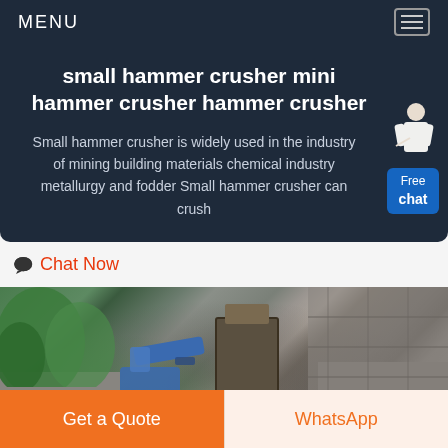MENU
small hammer crusher mini hammer crusher hammer crusher
Small hammer crusher is widely used in the industry of mining building materials chemical industry metallurgy and fodder Small hammer crusher can crush
Chat Now
[Figure (photo): Industrial hammer crusher machinery installed outdoors with stone walls and green trees in background]
Get a Quote
WhatsApp